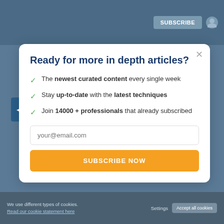SUBSCRIBE
Ready for more in depth articles?
The newest curated content every single week
Stay up-to-date with the latest techniques
Join 14000 + professionals that already subscribed
your@email.com
SUBSCRIBE NOW
We use different types of cookies. Read our cookie statement here   Settings   Accept all cookies